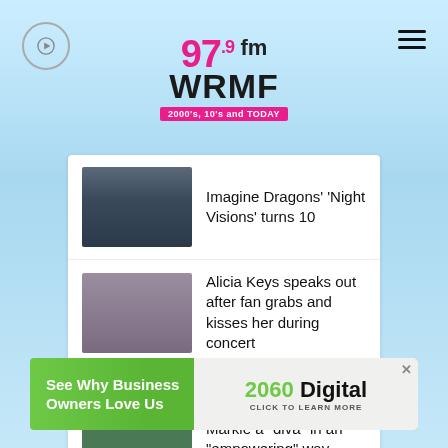[Figure (logo): 97.9 FM WRMF radio station logo with tagline '2000's, 10's and TODAY']
Imagine Dragons' 'Night Visions' turns 10
Alicia Keys speaks out after fan grabs and kisses her during concert
Mariah Carey clarifies she called Meghan Markle a "diva" in an "empowering" way
[Figure (illustration): Advertisement banner: See Why Business Owners Love Us — 2060 Digital CLICK TO LEARN MORE]